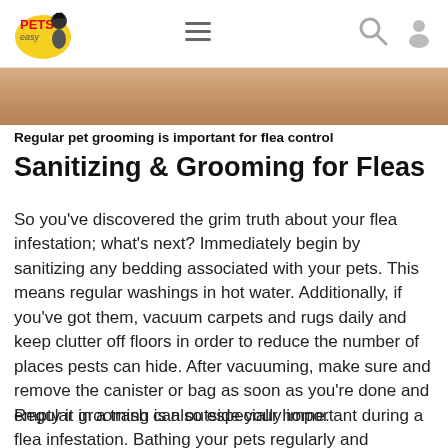Pets Easy — navigation header with logo, hamburger menu, search, and profile icons
[Figure (photo): Close-up photo of a person's arm/skin, cropped strip visible at top of content area]
Regular pet grooming is important for flea control
Sanitizing & Grooming for Fleas
So you've discovered the grim truth about your flea infestation; what's next? Immediately begin by sanitizing any bedding associated with your pets. This means regular washings in hot water. Additionally, if you've got them, vacuum carpets and rugs daily and keep clutter off floors in order to reduce the number of places pests can hide. After vacuuming, make sure and remove the canister or bag as soon as you're done and empty it in a trash can outside your home.
Regular grooming is also especially important during a flea infestation. Bathing your pets regularly and